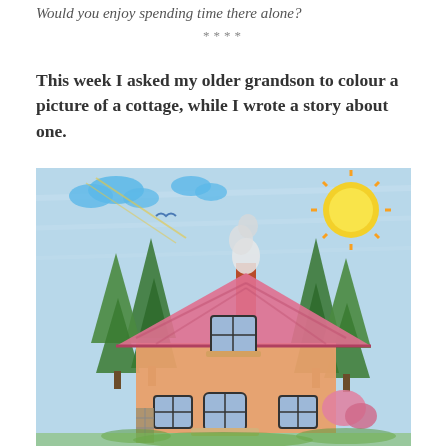Would you enjoy spending time there alone?
****
This week I asked my older grandson to colour a picture of a cottage, while I wrote a story about one.
[Figure (illustration): A child's crayon drawing of a cottage with a pink roof, orange walls, blue sky with clouds, green trees, and a yellow sun. The cottage has a front door and windows visible, with a chimney emitting white smoke.]